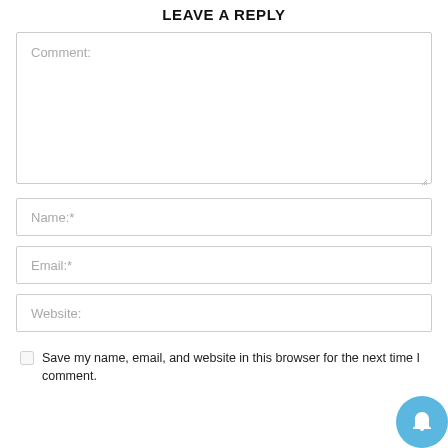LEAVE A REPLY
Comment:
Name:*
Email:*
Website:
Save my name, email, and website in this browser for the next time I comment.